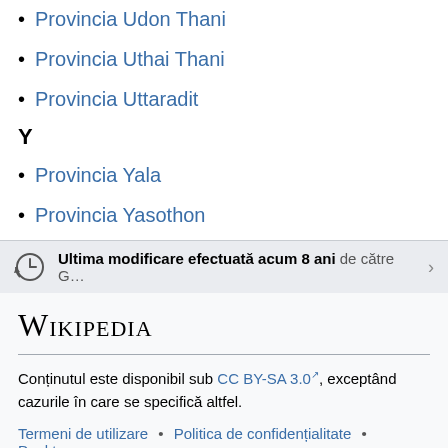Provincia Udon Thani
Provincia Uthai Thani
Provincia Uttaradit
Y
Provincia Yala
Provincia Yasothon
Ultima modificare efectuată acum 8 ani de către G…
[Figure (logo): Wikipedia logo text]
Conținutul este disponibil sub CC BY-SA 3.0, exceptând cazurile în care se specifică altfel.
Termeni de utilizare • Politica de confidențialitate • Desktop